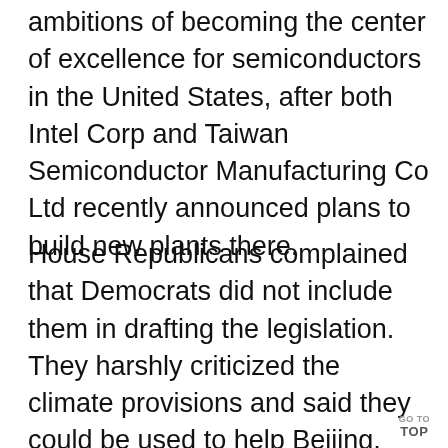ambitions of becoming the center of excellence for semiconductors in the United States, after both Intel Corp and Taiwan Semiconductor Manufacturing Co Ltd recently announced plans to build new plants there.
House Republicans complained that Democrats did not include them in drafting the legislation. They harshly criticized the climate provisions and said they could be used to help Beijing, and accused Democrats of using the China measure to advance parts of Biden's economic
GO TO TOP